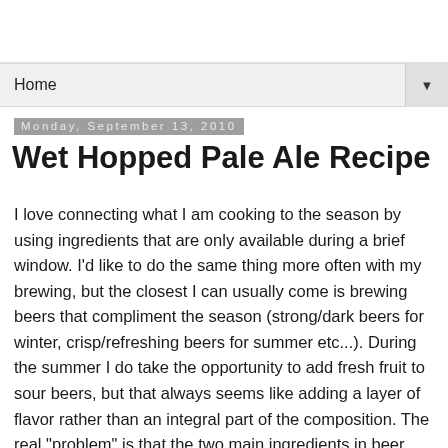Home
Monday, September 13, 2010
Wet Hopped Pale Ale Recipe
I love connecting what I am cooking to the season by using ingredients that are only available during a brief window.  I'd like to do the same thing more often with my brewing, but the closest I can usually come is brewing beers that compliment the season (strong/dark beers for winter, crisp/refreshing beers for summer etc...).  During the summer I do take the opportunity to add fresh fruit to sour beers, but that always seems like adding a layer of flavor rather than an integral part of the composition. The real "problem" is that the two main ingredients in beer (malt and hops) store so well that a